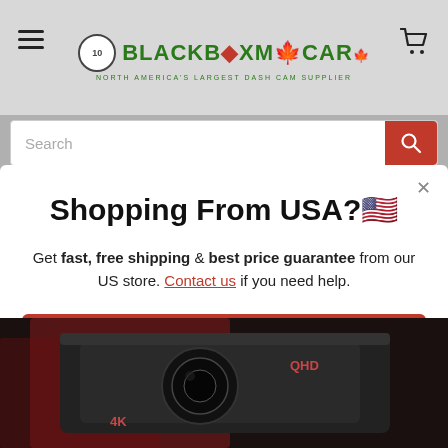[Figure (screenshot): BlackboxMyCar website header with hamburger menu, logo, and cart icon on gray background]
Shopping From USA?🇺🇸
Get fast, free shipping & best price guarantee from our US store. Contact us if you need help.
Shop in USD
[Figure (photo): Close-up photo of a black dash cam device with QHD and 4K labels visible]